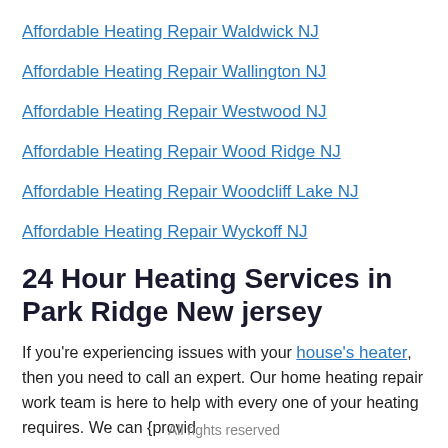Affordable Heating Repair Waldwick NJ
Affordable Heating Repair Wallington NJ
Affordable Heating Repair Westwood NJ
Affordable Heating Repair Wood Ridge NJ
Affordable Heating Repair Woodcliff Lake NJ
Affordable Heating Repair Wyckoff NJ
24 Hour Heating Services in Park Ridge New jersey
If you're experiencing issues with your house's heater, then you need to call an expert. Our home heating repair work team is here to help with every one of your heating requires. We can {provid
All rights reserved